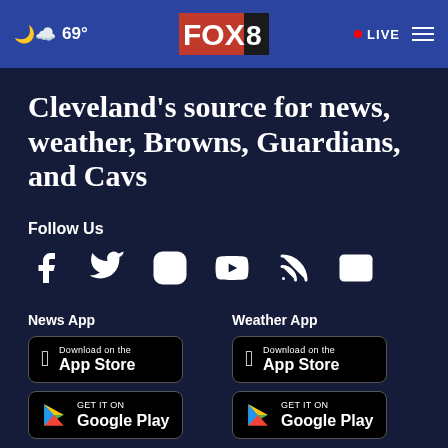FOX 8 — 69° | LIVE
Cleveland's source for news, weather, Browns, Guardians, and Cavs
Follow Us
[Figure (infographic): Social media icons: Facebook, Twitter, Instagram, YouTube, RSS, Email]
News App
[Figure (infographic): Download on the App Store button and Get it on Google Play button for News App]
Weather App
[Figure (infographic): Download on the App Store button and Get it on Google Play button for Weather App]